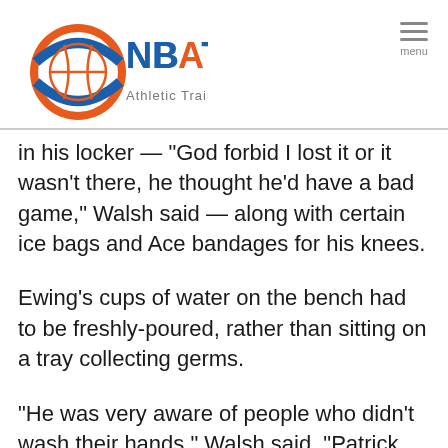NBATA
in his locker — "God forbid I lost it or it wasn't there, he thought he'd have a bad game," Walsh said — along with certain ice bags and Ace bandages for his knees.
Ewing's cups of water on the bench had to be freshly-poured, rather than sitting on a tray collecting germs.
"He was very aware of people who didn't wash their hands," Walsh said. "Patrick knew from two rooms away if someone went to the bathroom and didn't wash their hands. He knew it. And Patrick was not touching that person all night. Two hours later, in the middle of the game, if that guy just hit the